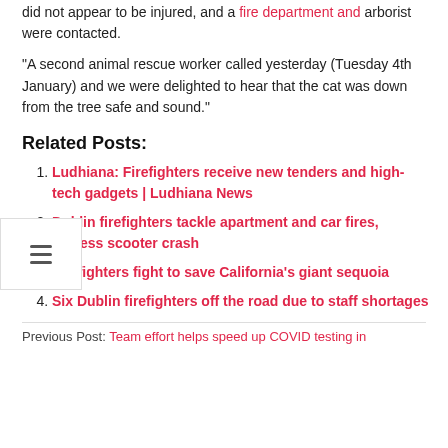did not appear to be injured, and a fire department and arborist were contacted.
“A second animal rescue worker called yesterday (Tuesday 4th January) and we were delighted to hear that the cat was down from the tree safe and sound.”
Related Posts:
Ludhiana: Firefighters receive new tenders and high-tech gadgets | Ludhiana News
Dublin firefighters tackle apartment and car fires, witness scooter crash
Firefighters fight to save California’s giant sequoia
Six Dublin firefighters off the road due to staff shortages
Previous Post: Team effort helps speed up COVID testing in